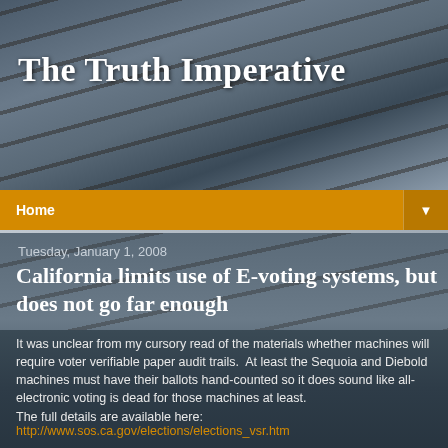[Figure (photo): Barbed wire close-up photograph with dark blurred background, used as a header banner image]
The Truth Imperative
Home ▼
Tuesday, January 1, 2008
California limits use of E-voting systems, but does not go far enough
It was unclear from my cursory read of the materials whether machines will require voter verifiable paper audit trails.  At least the Sequoia and Diebold machines must have their ballots hand-counted so it does sound like all-electronic voting is dead for those machines at least.
The full details are available here:
http://www.sos.ca.gov/elections/elections_vsr.htm